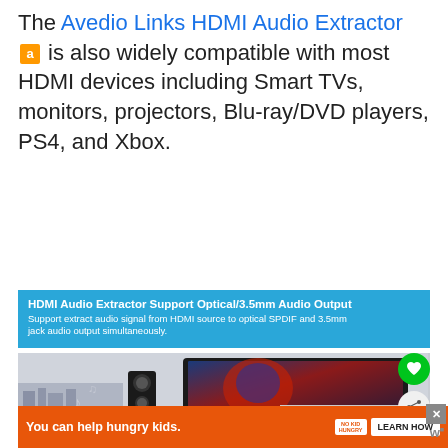The Avedio Links HDMI Audio Extractor [amazon] is also widely compatible with most HDMI devices including Smart TVs, monitors, projectors, Blu-ray/DVD players, PS4, and Xbox.
[Figure (screenshot): Product image showing HDMI Audio Extractor Support Optical/3.5mm Audio Output. Blue banner with product description text, below shows a living room scene with a curved TV displaying Spider-Man movie, speakers and musical notes, with a green heart button and share button on the right side, and a 'What's Next' thumbnail overlay.]
HDMI Audio Extractor Support Optical/3.5mm Audio Output. Support extract audio signal from HDMI source to optical SPDIF and 3.5mm jack audio output simultaneously.
You can help hungry kids. NO KID HUNGRY LEARN HOW